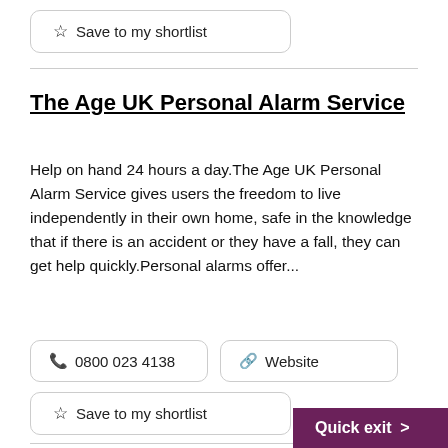Save to my shortlist
The Age UK Personal Alarm Service
Help on hand 24 hours a day.The Age UK Personal Alarm Service gives users the freedom to live independently in their own home, safe in the knowledge that if there is an accident or they have a fall, they can get help quickly.Personal alarms offer...
0800 023 4138
Website
Save to my shortlist
Quick exit >